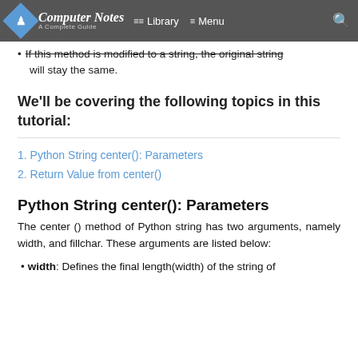Computer Notes A Complete Guide | Library | Menu
If this method is modified to a string, the original string will stay the same.
We'll be covering the following topics in this tutorial:
1. Python String center(): Parameters
2. Return Value from center()
Python String center(): Parameters
The center () method of Python string has two arguments, namely width, and fillchar. These arguments are listed below:
width: Defines the final length(width) of the string of